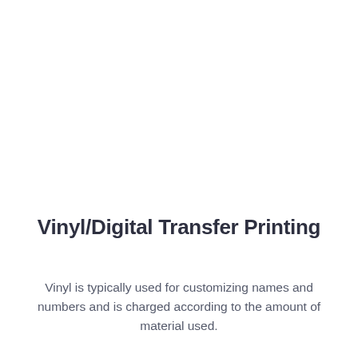Vinyl/Digital Transfer Printing
Vinyl is typically used for customizing names and numbers and is charged according to the amount of material used.